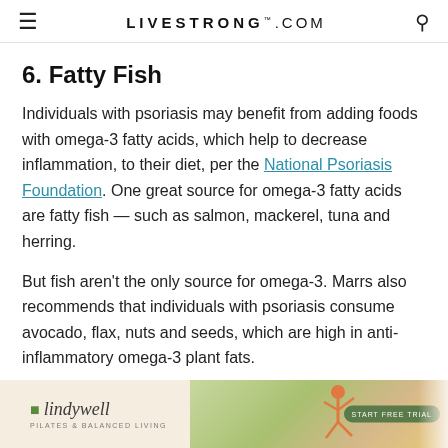LIVESTRONG.COM
6. Fatty Fish
Individuals with psoriasis may benefit from adding foods with omega-3 fatty acids, which help to decrease inflammation, to their diet, per the National Psoriasis Foundation. One great source for omega-3 fatty acids are fatty fish — such as salmon, mackerel, tuna and herring.
But fish aren't the only source for omega-3. Marrs also recommends that individuals with psoriasis consume avocado, flax, nuts and seeds, which are high in anti-inflammatory omega-3 plant fats.
[Figure (other): Advertisement banner for Lindywell Pilates & Balanced Living with a yoga pose figure and a 'Start Free Trial' button]